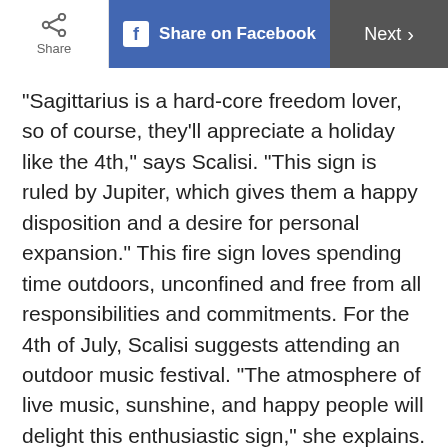Share | Share on Facebook | Next
“Sagittarius is a hard-core freedom lover, so of course, they’ll appreciate a holiday like the 4th,” says Scalisi. “This sign is ruled by Jupiter, which gives them a happy disposition and a desire for personal expansion.” This fire sign loves spending time outdoors, unconfined and free from all responsibilities and commitments. For the 4th of July, Scalisi suggests attending an outdoor music festival. “The atmosphere of live music, sunshine, and happy people will delight this enthusiastic sign,” she explains.